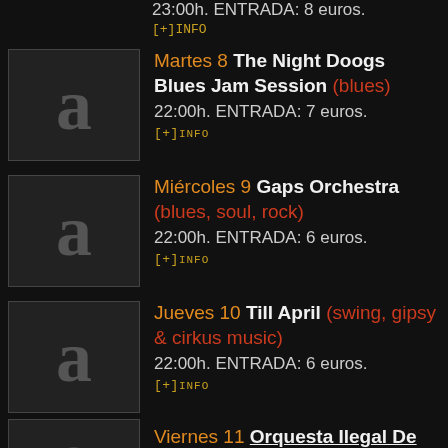23:00h. ENTRADA: 8 euros.
[+]INFO
Martes 8 The Night Doogs Blues Jam Session (blues) 22:00h. ENTRADA: 7 euros. [+]INFO
Miércoles 9 Gaps Orchestra (blues, soul, rock) 22:00h. ENTRADA: 6 euros. [+]INFO
Jueves 10 Till April (swing, gipsy & cirkus music) 22:00h. ENTRADA: 6 euros. [+]INFO
Viernes 11 Orquesta Ilegal De Barcelona